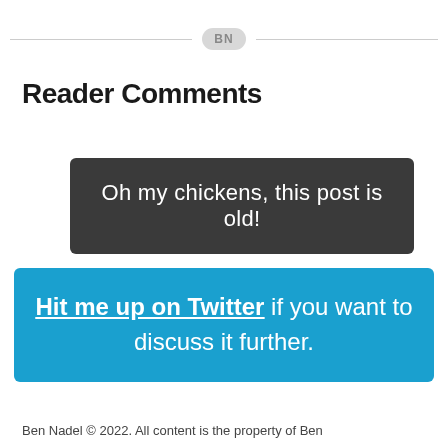BN
Reader Comments
Oh my chickens, this post is old!
Hit me up on Twitter if you want to discuss it further.
Ben Nadel © 2022. All content is the property of Ben